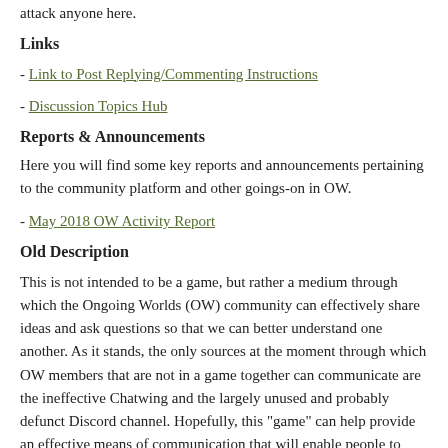attack anyone here.
Links
- Link to Post Replying/Commenting Instructions
- Discussion Topics Hub
Reports & Announcements
Here you will find some key reports and announcements pertaining to the community platform and other goings-on in OW.
- May 2018 OW Activity Report
Old Description
This is not intended to be a game, but rather a medium through which the Ongoing Worlds (OW) community can effectively share ideas and ask questions so that we can better understand one another. As it stands, the only sources at the moment through which OW members that are not in a game together can communicate are the ineffective Chatwing and the largely unused and probably defunct Discord channel. Hopefully, this "game" can help provide an effective means of communication that will enable people to